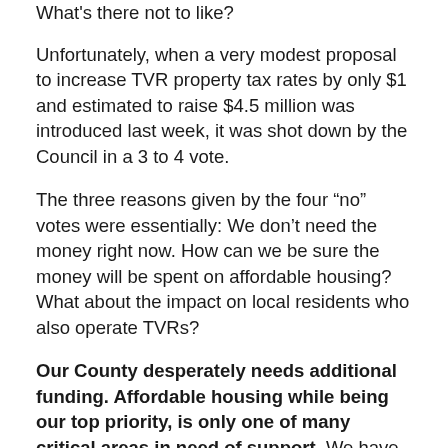What's there not to like?
Unfortunately, when a very modest proposal to increase TVR property tax rates by only $1 and estimated to raise $4.5 million was introduced last week, it was shot down by the Council in a 3 to 4 vote.
The three reasons given by the four “no” votes were essentially: We don’t need the money right now. How can we be sure the money will be spent on affordable housing? What about the impact on local residents who also operate TVRs?
Our County desperately needs additional funding. Affordable housing while being our top priority, is only one of many critical areas in need of support. We have a languishing youth drug treatment facility, homeless shelters at capacity, thousands of cesspools where we